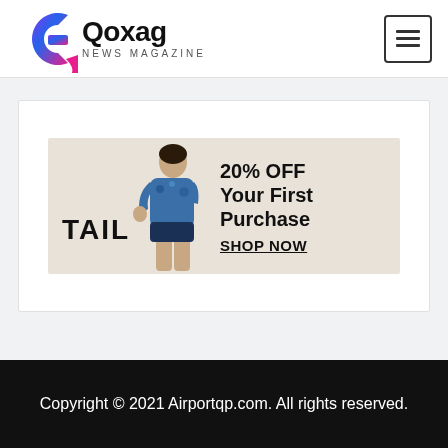[Figure (logo): Qoxag News Magazine logo with colorful circular G icon and black text]
[Figure (infographic): TAIL fashion brand advertisement banner: 20% OFF Your First Purchase, SHOP NOW, with woman in blue patterned outfit on beige background]
Copyright © 2021 Airportqp.com. All rights reserved.